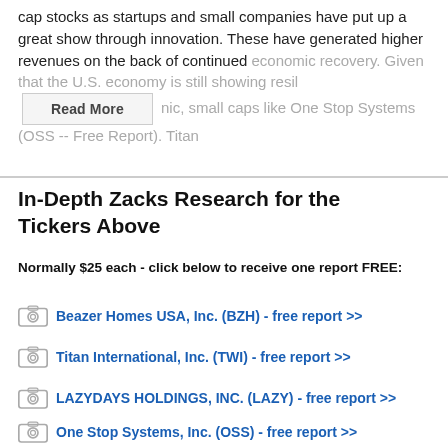cap stocks as startups and small companies have put up a great show through innovation. These have generated higher revenues on the back of continued economic recovery. Given that the U.S. economy is still showing resil [Read More] nic, small caps like One Stop Systems (OSS -- Free Report). Titan
In-Depth Zacks Research for the Tickers Above
Normally $25 each - click below to receive one report FREE:
Beazer Homes USA, Inc. (BZH) - free report >>
Titan International, Inc. (TWI) - free report >>
LAZYDAYS HOLDINGS, INC. (LAZY) - free report >>
One Stop Systems, Inc. (OSS) - free report >>